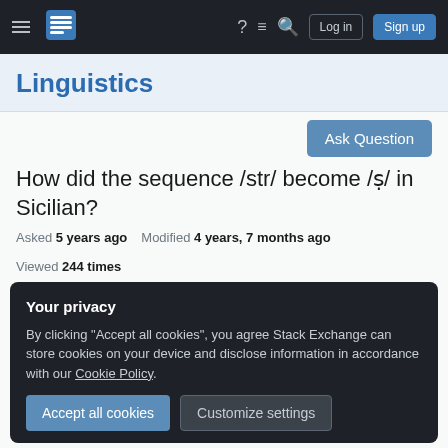Linguistics Stack Exchange navigation bar with Log in and Sign up buttons
Linguistics
Ask Question
How did the sequence /str/ become /ṣ/ in Sicilian?
Asked 5 years ago   Modified 4 years, 7 months ago   Viewed 244 times
Your privacy
By clicking "Accept all cookies", you agree Stack Exchange can store cookies on your device and disclose information in accordance with our Cookie Policy.
Accept all cookies   Customize settings
how T could have become a retroflex /ʂ/, maybe